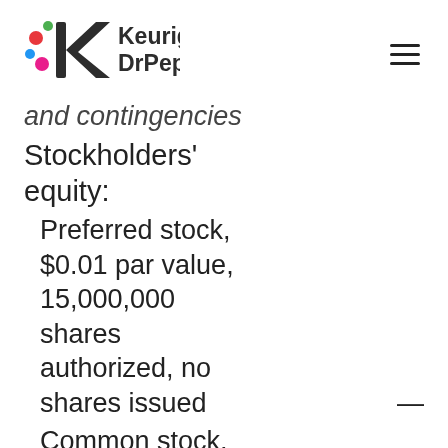[Figure (logo): Keurig Dr Pepper logo with colorful dots and stylized K icon]
and contingencies
Stockholders' equity:
Preferred stock, $0.01 par value, 15,000,000 shares authorized, no shares issued — Common stock, $0.01 par value,